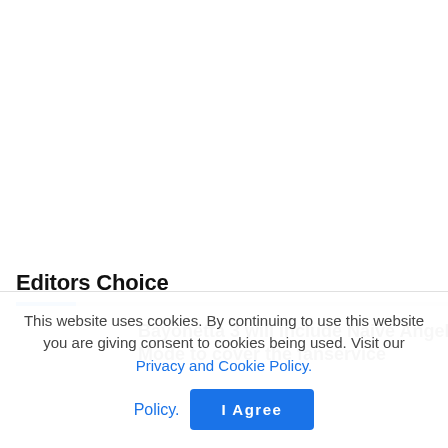Editors Choice
Bayonetta 3 will include Naive Angel Mode to cover the fanservice
This website uses cookies. By continuing to use this website you are giving consent to cookies being used. Visit our Privacy and Cookie Policy.